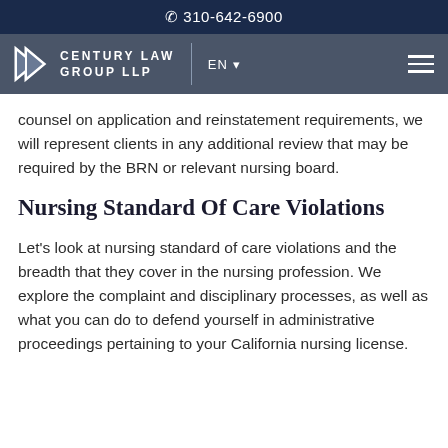310-642-6900
[Figure (logo): Century Law Group LLP logo with navigation bar showing EN language selector and hamburger menu]
counsel on application and reinstatement requirements, we will represent clients in any additional review that may be required by the BRN or relevant nursing board.
Nursing Standard Of Care Violations
Let's look at nursing standard of care violations and the breadth that they cover in the nursing profession. We explore the complaint and disciplinary processes, as well as what you can do to defend yourself in administrative proceedings pertaining to your California nursing license.